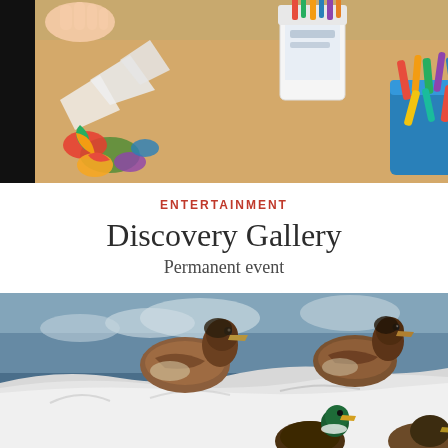[Figure (photo): Children's art table with colorful paper cutouts, a cup of markers, a blue bin full of crayons, craft supplies, and a Minion toy in the background]
ENTERTAINMENT
Discovery Gallery
Permanent event
[Figure (photo): Museum diorama or display showing taxidermied ducks posed on a white fabric surface with a painted blue sky background]